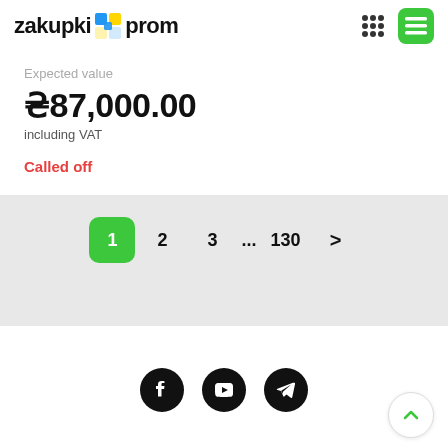zakupki prom
Expected value
₴87,000.00
including VAT
Called off
1 2 3 ... 130 >
Social icons: Facebook, YouTube, Telegram